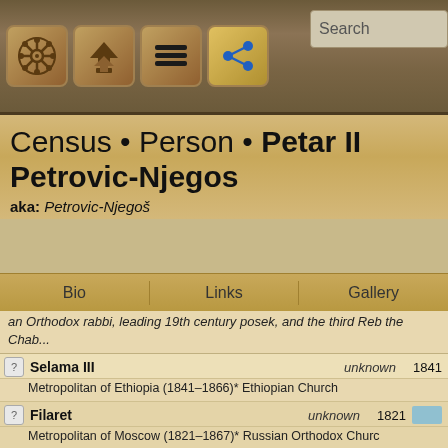[Figure (screenshot): Navigation bar with icons: ship wheel, home/up arrows, hamburger menu, share icon, and Search bar]
Census • Person • Petar II Petrovic-Njegos
aka: Petrovic-Njegoš
Bio | Links | Gallery
an Orthodox rabbi, leading 19th century posek, and the third Reb the Chab...
Selama III   unknown   1841
Metropolitan of Ethiopia (1841–1866)* Ethiopian Church
Filaret   unknown   1821
Metropolitan of Moscow (1821–1867)* Russian Orthodox Churc
Ioakim   unknown   1844
Metropolitan of Skopje (1844–1868)* Orthodox Church of Mace Patriarchate of Consta...
Agvaanchoyjivanchugperenlaijamts   unknown   1850
1850-1868, Tibetan Buddhism, Mongolia; Buddhism
Kallinikos I   unknown   1850